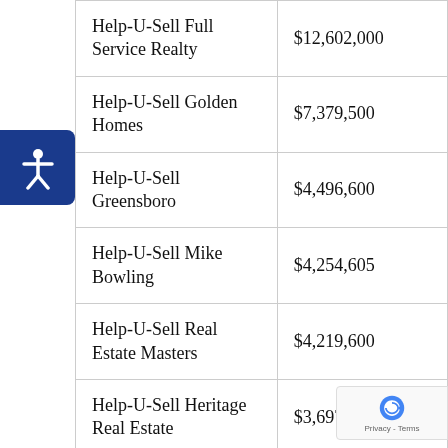| Help-U-Sell Full Service Realty | $12,602,000 |
| Help-U-Sell Golden Homes | $7,379,500 |
| Help-U-Sell Greensboro | $4,496,600 |
| Help-U-Sell Mike Bowling | $4,254,605 |
| Help-U-Sell Real Estate Masters | $4,219,600 |
| Help-U-Sell Heritage Real Estate | $3,697,900 |
| Help-U-Sell The |  |